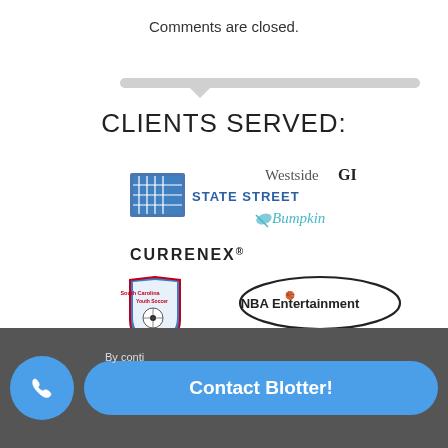Comments are closed.
CLIENTS SERVED:
[Figure (logo): Client logos: State Street, Westside GI, Bumpkin, Currenex, South Carolina Youth Soccer, NBA Entertainment, LD+A, CBNY File Management System, Banque Safdie]
By conti...
Contact Blotter!